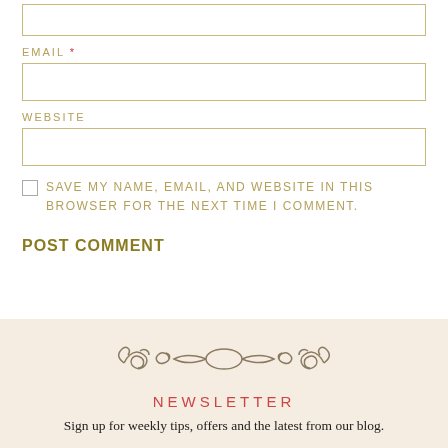[input field - top, partially visible]
EMAIL *
[email input field]
WEBSITE
[website input field]
SAVE MY NAME, EMAIL, AND WEBSITE IN THIS BROWSER FOR THE NEXT TIME I COMMENT.
POST COMMENT
[Figure (illustration): Decorative ornamental scroll/flourish divider in olive/brown color]
NEWSLETTER
Sign up for weekly tips, offers and the latest from our blog.